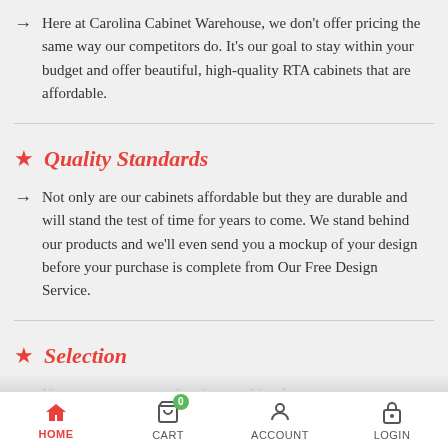Here at Carolina Cabinet Warehouse, we don't offer pricing the same way our competitors do. It's our goal to stay within your budget and offer beautiful, high-quality RTA cabinets that are affordable.
Quality Standards
Not only are our cabinets affordable but they are durable and will stand the test of time for years to come. We stand behind our products and we'll even send you a mockup of your design before your purchase is complete from Our Free Design Service.
Selection
No matter your taste, there's something for everyone
HOME   CART   ACCOUNT   LOGIN